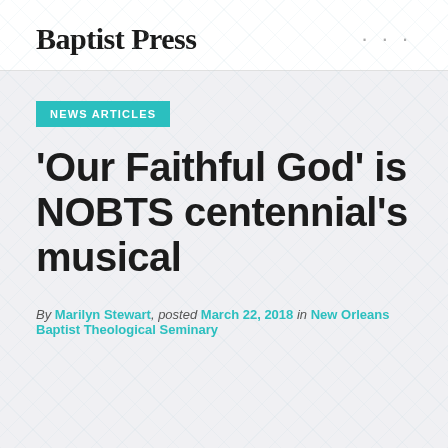Baptist Press
NEWS ARTICLES
'Our Faithful God' is NOBTS centennial's musical
By Marilyn Stewart, posted March 22, 2018 in New Orleans Baptist Theological Seminary